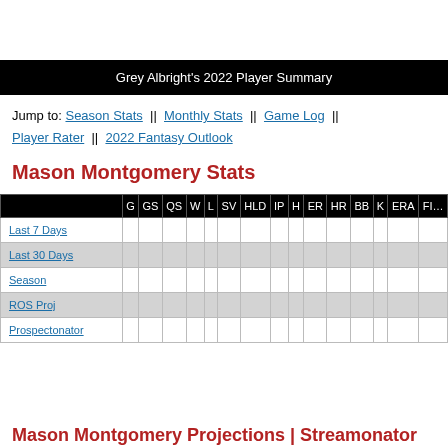Grey Albright's 2022 Player Summary
Jump to: Season Stats || Monthly Stats || Game Log || Player Rater || 2022 Fantasy Outlook
Mason Montgomery Stats
|  | G | GS | QS | W | L | SV | HLD | IP | H | ER | HR | BB | K | ERA | FI... |
| --- | --- | --- | --- | --- | --- | --- | --- | --- | --- | --- | --- | --- | --- | --- | --- |
| Last 7 Days |  |  |  |  |  |  |  |  |  |  |  |  |  |  |  |
| Last 30 Days |  |  |  |  |  |  |  |  |  |  |  |  |  |  |  |
| Season |  |  |  |  |  |  |  |  |  |  |  |  |  |  |  |
| ROS Proj |  |  |  |  |  |  |  |  |  |  |  |  |  |  |  |
| Prospectonator |  |  |  |  |  |  |  |  |  |  |  |  |  |  |  |
Mason Montgomery Projections | Streamonator